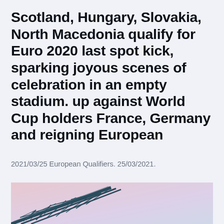Scotland, Hungary, Slovakia, North Macedonia qualify for Euro 2020 last spot kick, sparking joyous scenes of celebration in an empty stadium. up against World Cup holders France, Germany and reigning European
2021/03/25 European Qualifiers. 25/03/2021.
[Figure (photo): Partial view of a stadium structure from below, showing steel truss framework against a pale pink/lavender sky.]